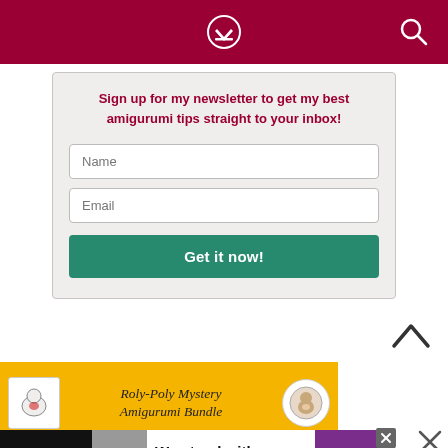Navigation bar with download and search icons
Sign up for my newsletter to get my best amigurumi tips straight to your inbox!
[Figure (screenshot): Newsletter signup form with Name field, Email field, and Get it now! button]
[Figure (illustration): Roly-Poly Mystery Amigurumi Bundle advertisement banner on yellow background]
[Figure (infographic): We stand with you solidarity bar advertisement]